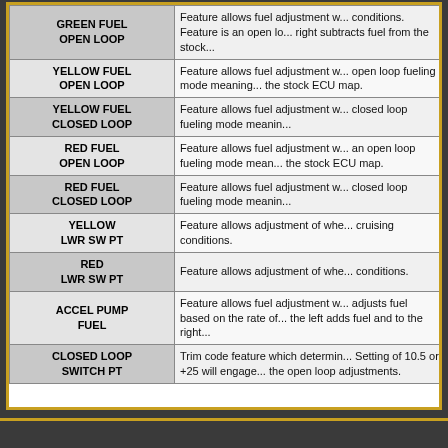| Feature Name | Description |
| --- | --- |
| GREEN FUEL OPEN LOOP | Feature allows fuel adjustment w... conditions. Feature is an open lo... right subtracts fuel from the stock... |
| YELLOW FUEL OPEN LOOP | Feature allows fuel adjustment w... open loop fueling mode meaning... the stock ECU map. |
| YELLOW FUEL CLOSED LOOP | Feature allows fuel adjustment w... closed loop fueling mode meanin... |
| RED FUEL OPEN LOOP | Feature allows fuel adjustment w... an open loop fueling mode mean... the stock ECU map. |
| RED FUEL CLOSED LOOP | Feature allows fuel adjustment w... closed loop fueling mode meanin... |
| YELLOW LWR SW PT | Feature allows adjustment of whe... cruising conditions. |
| RED LWR SW PT | Feature allows adjustment of whe... conditions. |
| ACCEL PUMP FUEL | Feature allows fuel adjustment w... adjusts fuel based on the rate of... the left adds fuel and to the right... |
| CLOSED LOOP SWITCH PT | Trim code feature which determin... Setting of 10.5 or +25 will engage... the open loop adjustments. |